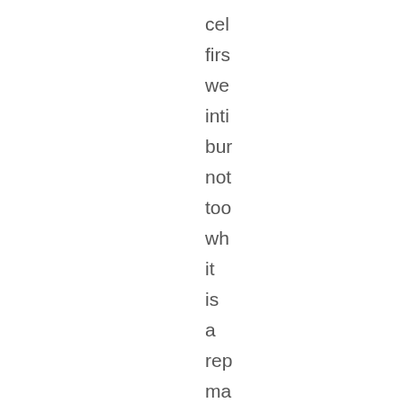cel
firs
we
inti
bur
not
too
wh
it
is
a
rep
ma
in
the
ind
wo